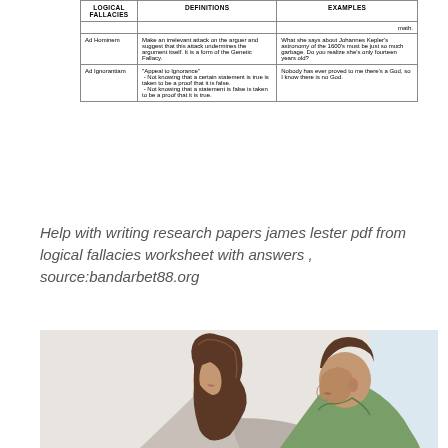| LOGICAL FALLACIES | DEFINITIONS | EXAMPLES |
| --- | --- | --- |
|  |  | math. |
| Ad Hominem | Make an irrelevant attack on the arguer and suggest that this attack undermines the argument itself. It is a form of the Genetic Fallacy. | What she says about Johannes Kepler's astronomy of the 1600's must be just so much garbage. Do you realize she's only fourteen years old? |
| Ad Ignorantiam | "Appeal to Ignorance"
- Not knowing that a certain statement is true is taken to be a proof that it is false.
- Not knowing that a statement is false is taken to be a proof that it is true. | Nobody has ever proved to me there's a God, so I know there is no God. |
Help with writing research papers james lester pdf from logical fallacies worksheet with answers , source:bandarbet88.org
[Figure (photo): Photo of a young woman and a man facing each other as if in conversation or argument, both in profile view. The woman has long brown hair and is on the left; the man is wearing a green shirt and is on the right.]